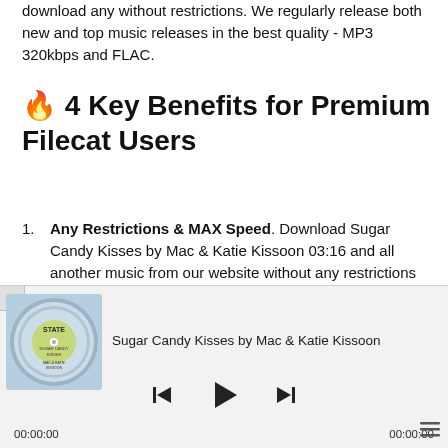download any without restrictions. We regularly release both new and top music releases in the best quality - MP3 320kbps and FLAC.
🔥 4 Key Benefits for Premium Filecat Users
Any Restrictions & MAX Speed. Download Sugar Candy Kisses by Mac & Katie Kissoon 03:16 and all another music from our website without any restrictions with maximum download speed.
8890 Music Releases is available only for Premium in
[Figure (screenshot): Music player widget showing Sugar Candy Kisses by Mac & Katie Kissoon with album art (State Records vinyl), playback controls (previous, play, next), timecodes 00:00:00 on both sides, and a menu icon.]